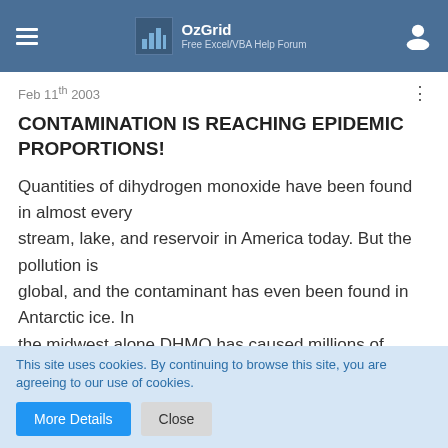OzGrid — Free Excel/VBA Help Forum
Feb 11th 2003
CONTAMINATION IS REACHING EPIDEMIC PROPORTIONS!
Quantities of dihydrogen monoxide have been found in almost every stream, lake, and reservoir in America today. But the pollution is global, and the contaminant has even been found in Antarctic ice. In the midwest alone DHMO has caused millions of dollars of property damage.
This site uses cookies. By continuing to browse this site, you are agreeing to our use of cookies.